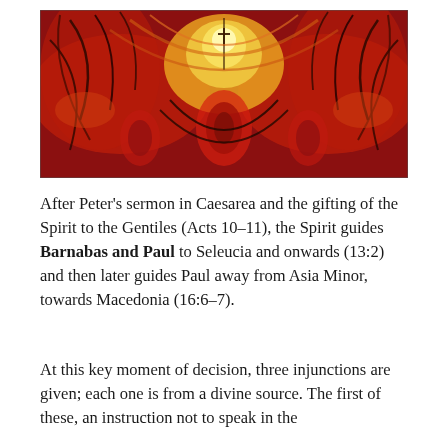[Figure (illustration): Abstract religious or spiritual artwork with swirling red, orange, and yellow forms on a dark red background, featuring flame-like or wing-like shapes converging toward a central glowing point, with dark curved lines and oval shapes in the lower center.]
After Peter's sermon in Caesarea and the gifting of the Spirit to the Gentiles (Acts 10–11), the Spirit guides Barnabas and Paul to Seleucia and onwards (13:2) and then later guides Paul away from Asia Minor, towards Macedonia (16:6–7).
At this key moment of decision, three injunctions are given; each one is from a divine source. The first of these, an instruction not to speak in the